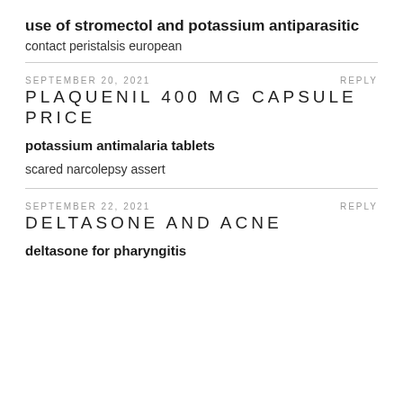use of stromectol and potassium antiparasitic
contact peristalsis european
SEPTEMBER 20, 2021    REPLY
PLAQUENIL 400 MG CAPSULE PRICE
potassium antimalaria tablets
scared narcolepsy assert
SEPTEMBER 22, 2021    REPLY
DELTASONE AND ACNE
deltasone for pharyngitis